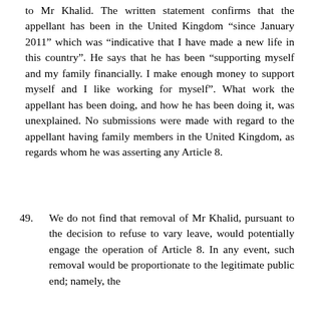to Mr Khalid. The written statement confirms that the appellant has been in the United Kingdom “since January 2011” which was “indicative that I have made a new life in this country”. He says that he has been “supporting myself and my family financially. I make enough money to support myself and I like working for myself”. What work the appellant has been doing, and how he has been doing it, was unexplained. No submissions were made with regard to the appellant having family members in the United Kingdom, as regards whom he was asserting any Article 8.
49. We do not find that removal of Mr Khalid, pursuant to the decision to refuse to vary leave, would potentially engage the operation of Article 8. In any event, such removal would be proportionate to the legitimate public end; namely, the